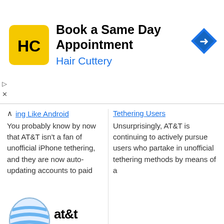[Figure (advertisement): Hair Cuttery ad banner with yellow logo showing HC initials, headline 'Book a Same Day Appointment', subtext 'Hair Cuttery', and blue navigation diamond icon on the right.]
ing Like Android
You probably know by now that AT&T isn't a fan of unofficial iPhone tethering, and they are now auto-updating accounts to paid
Tethering Users
Unsurprisingly, AT&T is continuing to actively pursue users who partake in unofficial tethering methods by means of a
[Figure (screenshot): AT&T logo with globe icon and text 'at&t' and caption 'is going to charge you $45/m for unofficially tethering your i']
AT&T Auto-Updating Unauthorized iPhone Tethering Accounts to Paid Tether Plans